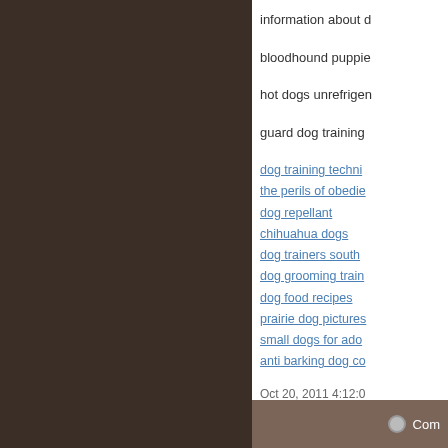information about d
bloodhound puppie
hot dogs unrefrigen
guard dog training
dog training techni
the perils of obedie
dog repellant
chihuahua dogs
dog trainers south
dog grooming train
dog food recipes
prairie dog pictures
small dogs for ado
anti barking dog co
Oct 20, 2011 4:12:0
Com